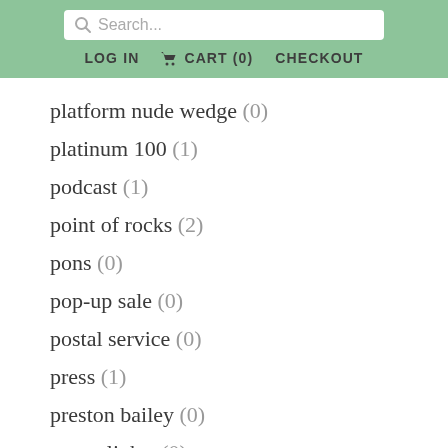Search... | LOG IN | CART (0) | CHECKOUT
platform nude wedge (0)
platinum 100 (1)
podcast (1)
point of rocks (2)
pons (0)
pop-up sale (0)
postal service (0)
press (1)
preston bailey (0)
pretty lights (0)
prince william (1)